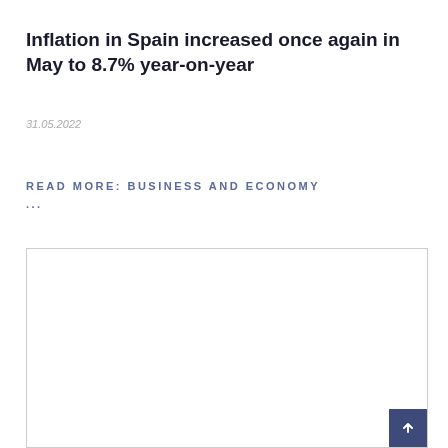Inflation in Spain increased once again in May to 8.7% year-on-year
31.05.2022
READ MORE: BUSINESS AND ECONOMY ...
[Figure (other): Empty white bordered box with a scroll-to-top button in the bottom right corner]